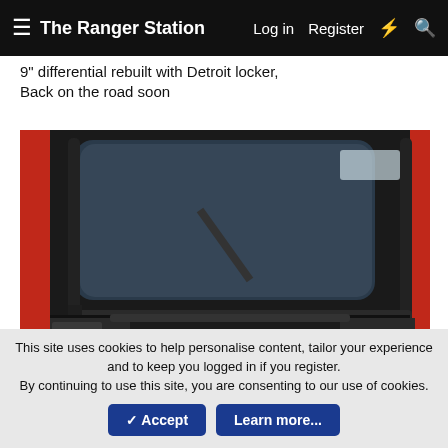The Ranger Station   Log in   Register
9" differential rebuilt with Detroit locker, Back on the road soon
[Figure (photo): Interior of a heavily modified vehicle (Ford Bronco or Ranger) showing the cabin stripped bare with black roll cage bars, two sets of racing harness seatbelts with orange/red logos, bare metal floor panels, and a red exterior visible through the open door. Garage setting.]
This site uses cookies to help personalise content, tailor your experience and to keep you logged in if you register. By continuing to use this site, you are consenting to our use of cookies.